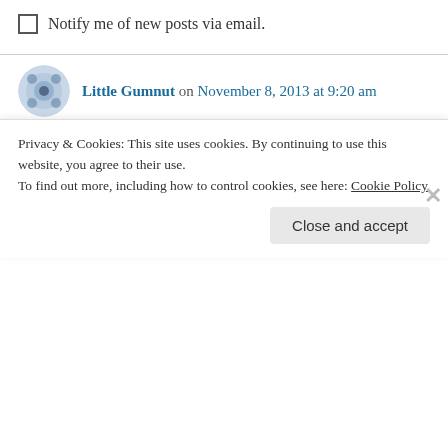Notify me of new posts via email.
Little Gumnut on November 8, 2013 at 9:20 am
fwarrrrr
↳ Reply
thehungrymum on November 8, 2013 at 9:20 am
Privacy & Cookies: This site uses cookies. By continuing to use this website, you agree to their use. To find out more, including how to control cookies, see here: Cookie Policy
Close and accept